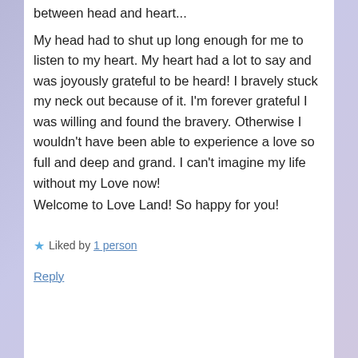between head and heart...
My head had to shut up long enough for me to listen to my heart. My heart had a lot to say and was joyously grateful to be heard! I bravely stuck my neck out because of it. I’m forever grateful I was willing and found the bravery. Otherwise I wouldn’t have been able to experience a love so full and deep and grand. I can’t imagine my life without my Love now!
Welcome to Love Land! So happy for you!
★ Liked by 1 person
Reply